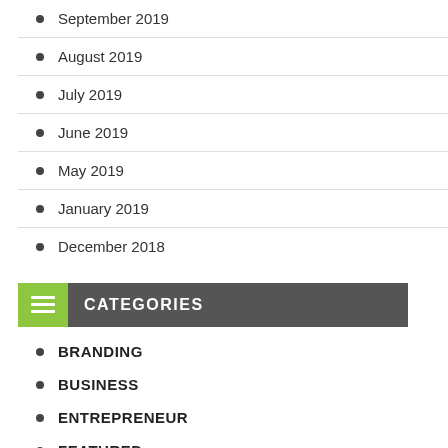September 2019
August 2019
July 2019
June 2019
May 2019
January 2019
December 2018
CATEGORIES
BRANDING
BUSINESS
ENTREPRENEUR
FEATURED
FINANCE